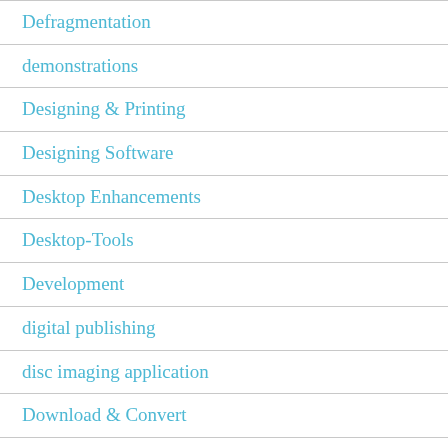Defragmentation
demonstrations
Designing & Printing
Designing Software
Desktop Enhancements
Desktop-Tools
Development
digital publishing
disc imaging application
Download & Convert